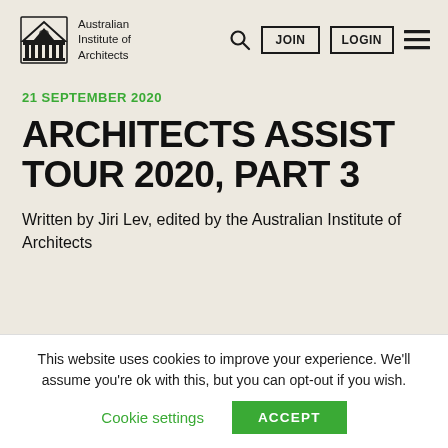[Figure (logo): Australian Institute of Architects logo with crest and text]
21 SEPTEMBER 2020
ARCHITECTS ASSIST TOUR 2020, PART 3
Written by Jiri Lev, edited by the Australian Institute of Architects
This website uses cookies to improve your experience. We'll assume you're ok with this, but you can opt-out if you wish.
Cookie settings   ACCEPT